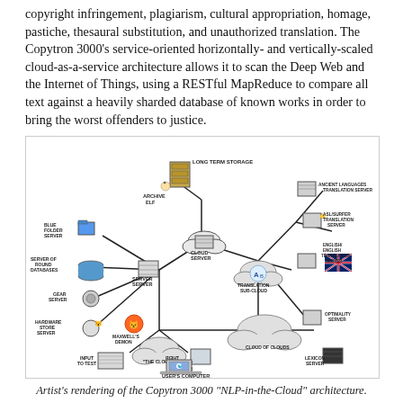copyright infringement, plagiarism, cultural appropriation, homage, pastiche, thesaural substitution, and unauthorized translation. The Copytron 3000's service-oriented horizontally- and vertically-scaled cloud-as-a-service architecture allows it to scan the Deep Web and the Internet of Things, using a RESTful MapReduce to compare all text against a heavily sharded database of known works in order to bring the worst offenders to justice.
[Figure (infographic): Artist's rendering of the Copytron 3000 NLP-in-the-Cloud architecture showing various servers (Blue Folder Server, Server of Round Databases, Gear Server, Hardware Store Server, Long Term Storage, Archive Elf, Cloud Server, Server Server, Maxwell's Demon, 'The Cloud', Translation Sub-Cloud, Cloud of Clouds, Ancient Languages Translation Server, ASL/Surfer Translation Server, English/English Translation Server, Optimality Server, Lexicon Server, Input to Test, User's Computer, Their Target Server) connected by lines.]
Artist's rendering of the Copytron 3000 "NLP-in-the-Cloud" architecture.